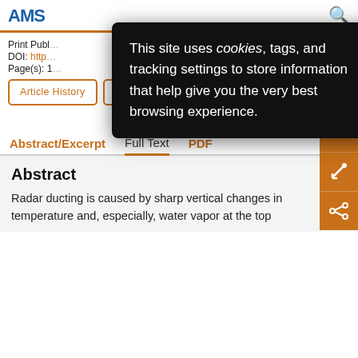[Figure (screenshot): AMS (American Meteorological Society) website header with logo and search icon]
This site uses cookies, tags, and tracking settings to store information that help give you the very best browsing experience.
Print Publ...
DOI: http...
Page(s): 1...
Article History | Download PDF | Get Per...
Full a...
Abstract/Excerpt  Full Text  PDF
Abstract
Radar ducting is caused by sharp vertical changes in temperature and, especially, water vapor at the top...